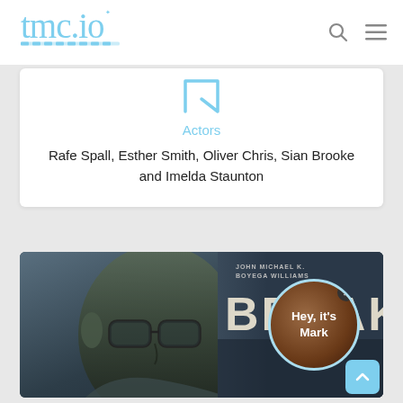[Figure (logo): tmc.io logo in light blue cursive script with film strip graphic underneath]
[Figure (infographic): Search icon (magnifying glass) and hamburger menu icon in gray]
[Figure (illustration): Bookmark/save icon outline in light blue]
Actors
Rafe Spall, Esther Smith, Oliver Chris, Sian Brooke and Imelda Staunton
[Figure (photo): Movie scene showing a Black man wearing glasses in close-up, with a Breaking movie poster overlay on the right showing John Boyega and Michael K. Williams credits, and a circular chat avatar bubble saying Hey, it's Mark with a close button]
[Figure (illustration): Teal scroll-to-top button with upward chevron arrow in bottom right corner]